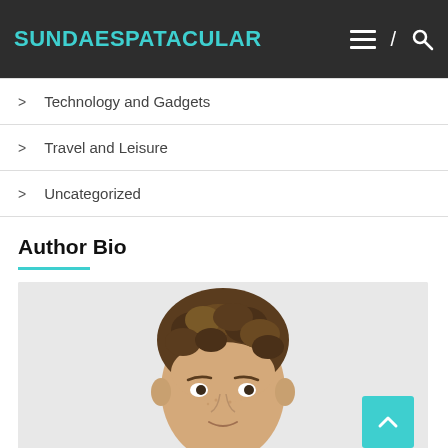SUNDAESPATACULAR
Technology and Gadgets
Travel and Leisure
Uncategorized
Author Bio
[Figure (photo): Headshot of a young man with curly brown hair against a light grey background]